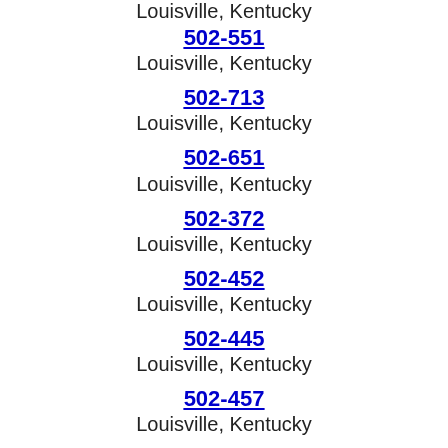Louisville, Kentucky
502-551
Louisville, Kentucky
502-713
Louisville, Kentucky
502-651
Louisville, Kentucky
502-372
Louisville, Kentucky
502-452
Louisville, Kentucky
502-445
Louisville, Kentucky
502-457
Louisville, Kentucky
502-552
Louisville, Kentucky
502-901